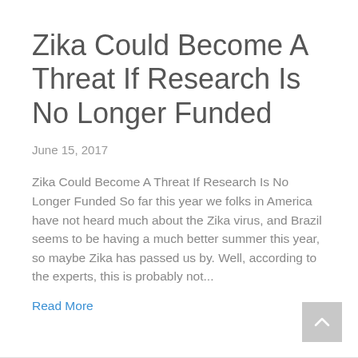Zika Could Become A Threat If Research Is No Longer Funded
June 15, 2017
Zika Could Become A Threat If Research Is No Longer Funded So far this year we folks in America have not heard much about the Zika virus, and Brazil seems to be having a much better summer this year, so maybe Zika has passed us by. Well, according to the experts, this is probably not...
Read More